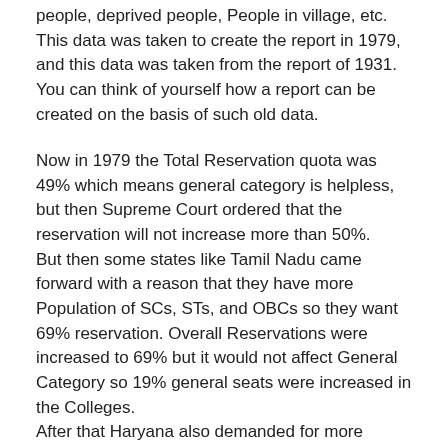people, deprived people, People in village, etc. This data was taken to create the report in 1979, and this data was taken from the report of 1931. You can think of yourself how a report can be created on the basis of such old data.
Now in 1979 the Total Reservation quota was 49% which means general category is helpless, but then Supreme Court ordered that the reservation will not increase more than 50%.
But then some states like Tamil Nadu came forward with a reason that they have more Population of SCs, STs, and OBCs so they want 69% reservation. Overall Reservations were increased to 69% but it would not affect General Category so 19% general seats were increased in the Colleges.
After that Haryana also demanded for more reservation, and this was possible because of the 9th Schedule of the Construction, according to which any changes by parliament cannot be challenged directly in the court.